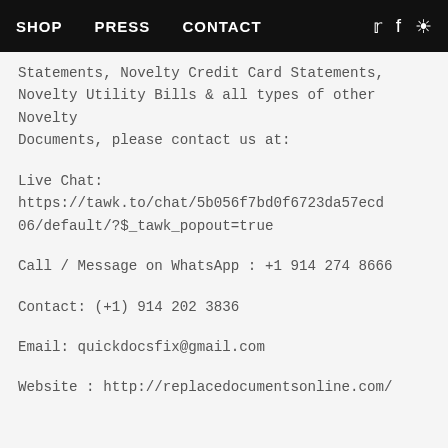SHOP   PRESS   CONTACT
Statements, Novelty Credit Card Statements, Novelty Utility Bills & all types of other Novelty Documents, please contact us at:
Live Chat:
https://tawk.to/chat/5b056f7bd0f6723da57ecd06/default/?$_tawk_popout=true
Call / Message on WhatsApp : +1 914 274 8666
Contact: (+1) 914 202 3836
Email: quickdocsfix@gmail.com
Website : http://replacedocumentsonline.com/